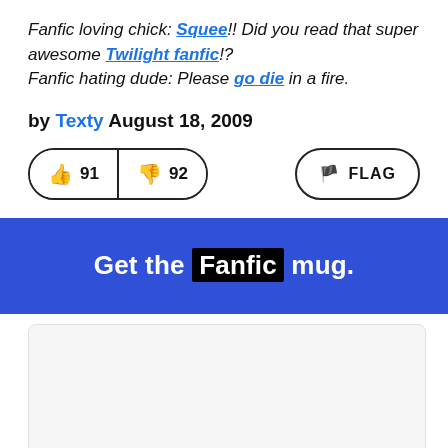Fanfic loving chick: Squee!! Did you read that super awesome Twilight fanfic!?
Fanfic hating dude: Please go die in a fire.
by Texty August 18, 2009
[Figure (other): Vote buttons showing thumbs up 91 and thumbs down 92, and a FLAG button on the right]
Get the Fanfic mug.
[Figure (other): Empty grey card at the bottom of the page]